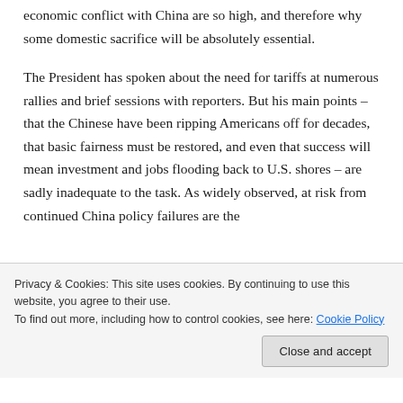economic conflict with China are so high, and therefore why some domestic sacrifice will be absolutely essential.
The President has spoken about the need for tariffs at numerous rallies and brief sessions with reporters. But his main points – that the Chinese have been ripping Americans off for decades, that basic fairness must be restored, and even that success will mean investment and jobs flooding back to U.S. shores – are sadly inadequate to the task. As widely observed, at risk from continued China policy failures are the
Privacy & Cookies: This site uses cookies. By continuing to use this website, you agree to their use.
To find out more, including how to control cookies, see here: Cookie Policy